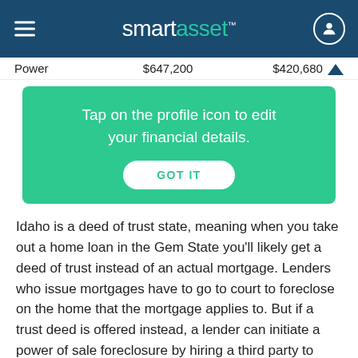smartasset™
|  |  |  |
| --- | --- | --- |
| Power | $647,200 | $420,680 |
Tap on the profile icon to edit your financial details.
GOT IT
Idaho is a deed of trust state, meaning when you take out a home loan in the Gem State you'll likely get a deed of trust instead of an actual mortgage. Lenders who issue mortgages have to go to court to foreclose on the home that the mortgage applies to. But if a trust deed is offered instead, a lender can initiate a power of sale foreclosure by hiring a third party to auction the home it wants to sell, bypassing the court process.
Idaho also mandates a foreclosure waiting period...